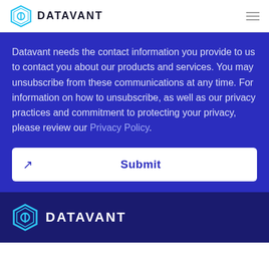[Figure (logo): Datavant logo with hexagonal shield icon and DATAVANT text in header]
Datavant needs the contact information you provide to us to contact you about our products and services. You may unsubscribe from these communications at any time. For information on how to unsubscribe, as well as our privacy practices and commitment to protecting your privacy, please review our Privacy Policy.
Submit
[Figure (logo): Datavant logo with hexagonal shield icon and DATAVANT text in dark footer]